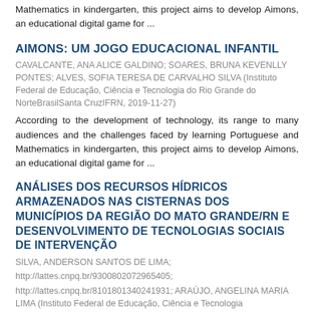Mathematics in kindergarten, this project aims to develop Aimons, an educational digital game for ...
AIMONS: UM JOGO EDUCACIONAL INFANTIL
CAVALCANTE, ANA ALICE GALDINO; SOARES, BRUNA KEVENLLY PONTES; ALVES, SOFIA TERESA DE CARVALHO SILVA (Instituto Federal de Educação, Ciência e Tecnologia do Rio Grande do NorteBrasilSanta CruzIFRN, 2019-11-27)
According to the development of technology, its range to many audiences and the challenges faced by learning Portuguese and Mathematics in kindergarten, this project aims to develop Aimons, an educational digital game for ...
ANÁLISES DOS RECURSOS HÍDRICOS ARMAZENADOS NAS CISTERNAS DOS MUNICÍPIOS DA REGIÃO DO MATO GRANDE/RN E DESENVOLVIMENTO DE TECNOLOGIAS SOCIAIS DE INTERVENÇÃO
SILVA, ANDERSON SANTOS DE LIMA;
http://lattes.cnpq.br/9300802072965405;
http://lattes.cnpq.br/8101801340241931; ARAÚJO, ANGELINA MARIA LIMA (Instituto Federal de Educação, Ciência e Tecnologia